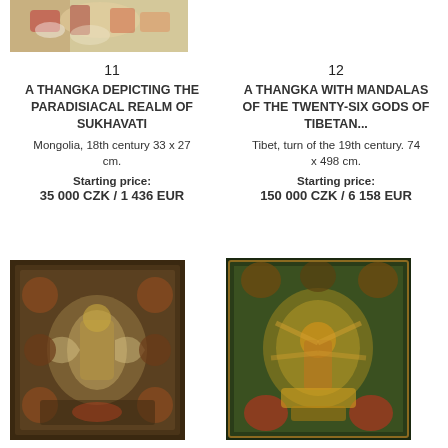[Figure (photo): Top portion of a thangka painting from item 11, showing colorful figures on a light background]
11
A THANGKA DEPICTING THE PARADISIACAL REALM OF SUKHAVATI
Mongolia, 18th century 33 x 27 cm.
Starting price:
35 000 CZK / 1 436 EUR
12
A THANGKA WITH MANDALAS OF THE TWENTY-SIX GODS OF TIBETAN...
Tibet, turn of the 19th century. 74 x 498 cm.
Starting price:
150 000 CZK / 6 158 EUR
[Figure (photo): Thangka painting with dark brown tones depicting Buddhist deity or mandala, item 13]
[Figure (photo): Thangka painting with green and gold tones depicting a multi-armed deity, item 14]